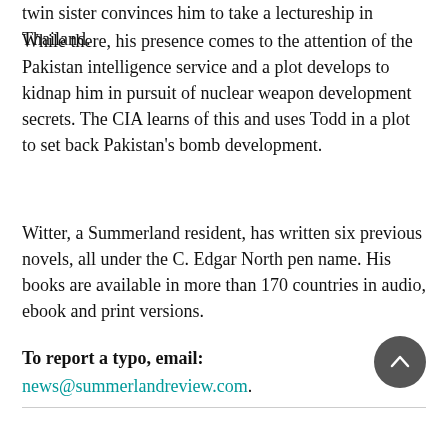twin sister convinces him to take a lectureship in Thailand.
While there, his presence comes to the attention of the Pakistan intelligence service and a plot develops to kidnap him in pursuit of nuclear weapon development secrets. The CIA learns of this and uses Todd in a plot to set back Pakistan's bomb development.
Witter, a Summerland resident, has written six previous novels, all under the C. Edgar North pen name. His books are available in more than 170 countries in audio, ebook and print versions.
To report a typo, email:
news@summerlandreview.com.